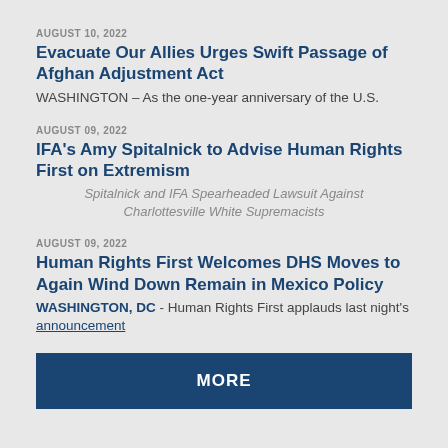AUGUST 10, 2022
Evacuate Our Allies Urges Swift Passage of Afghan Adjustment Act
WASHINGTON – As the one-year anniversary of the U.S.
AUGUST 09, 2022
IFA's Amy Spitalnick to Advise Human Rights First on Extremism
Spitalnick and IFA Spearheaded Lawsuit Against Charlottesville White Supremacists
AUGUST 09, 2022
Human Rights First Welcomes DHS Moves to Again Wind Down Remain in Mexico Policy
WASHINGTON, DC - Human Rights First applauds last night's announcement
MORE